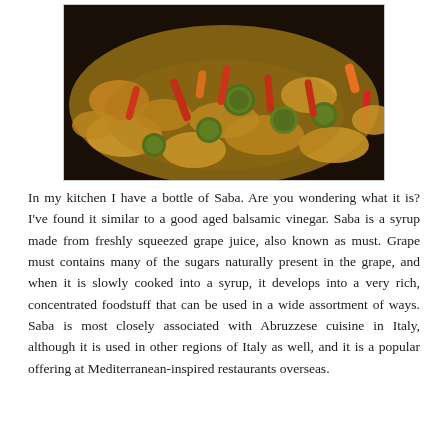[Figure (photo): A pan of cooked chicken pieces stir-fried with Brussels sprouts, red peppers, and other colorful vegetables in a savory sauce.]
In my kitchen I have a bottle of Saba. Are you wondering what it is? I've found it similar to a good aged balsamic vinegar. Saba is a syrup made from freshly squeezed grape juice, also known as must. Grape must contains many of the sugars naturally present in the grape, and when it is slowly cooked into a syrup, it develops into a very rich, concentrated foodstuff that can be used in a wide assortment of ways. Saba is most closely associated with Abruzzese cuisine in Italy, although it is used in other regions of Italy as well, and it is a popular offering at Mediterranean-inspired restaurants overseas.